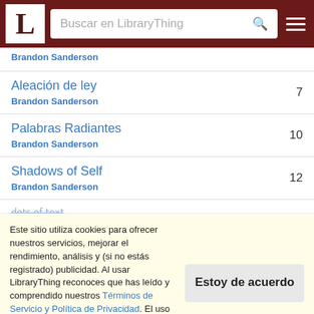LibraryThing - Buscar en LibraryThing
Brandon Sanderson
Aleación de ley - Brandon Sanderson - 7
Palabras Radiantes - Brandon Sanderson - 10
Shadows of Self - Brandon Sanderson - 12
Este sitio utiliza cookies para ofrecer nuestros servicios, mejorar el rendimiento, análisis y (si no estás registrado) publicidad. Al usar LibraryThing reconoces que has leído y comprendido nuestros Términos de Servicio y Política de Privacidad. El uso del sitio y de los servicios está sujeto a estas políticas y términos.